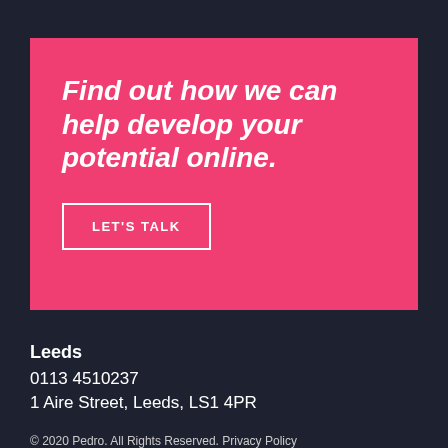Find out how we can help develop your potential online.
LET'S TALK
Leeds
0113 4510237
1 Aire Street, Leeds, LS1 4PR
© 2020 Pedro. All Rights Reserved. Privacy Policy